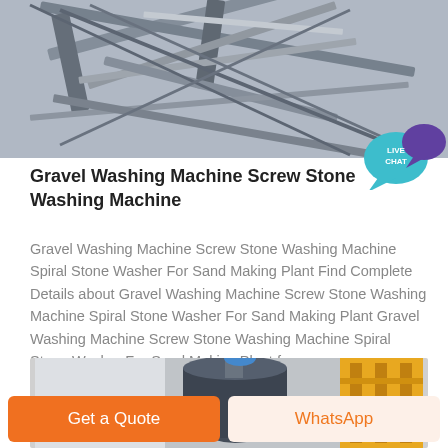[Figure (photo): Overhead/isometric view of industrial machine parts, metallic frames and components.]
[Figure (other): Live Chat badge with teal speech bubble and purple chat icon, labeled LIVE CHAT.]
Gravel Washing Machine Screw Stone Washing Machine
Gravel Washing Machine Screw Stone Washing Machine Spiral Stone Washer For Sand Making Plant Find Complete Details about Gravel Washing Machine Screw Stone Washing Machine Spiral Stone Washer For Sand Making Plant Gravel Washing Machine Screw Stone Washing Machine Spiral Stone Washer For Sand Making Plant from
[Figure (photo): Industrial machinery photo showing large vessel or tank with equipment, yellow structure on right.]
Get a Quote
WhatsApp